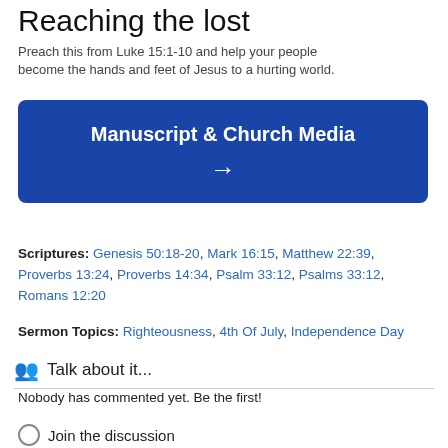Reaching the lost
Preach this from Luke 15:1-10 and help your people become the hands and feet of Jesus to a hurting world.
[Figure (other): Blue button with white bold text 'Manuscript & Church Media' and a right arrow below it]
Scriptures: Genesis 50:18-20, Mark 16:15, Matthew 22:39, Proverbs 13:24, Proverbs 14:34, Psalm 33:12, Psalms 33:12, Romans 12:20
Sermon Topics: Righteousness, 4th Of July, Independence Day
🐾 Talk about it...
Nobody has commented yet. Be the first!
Join the discussion